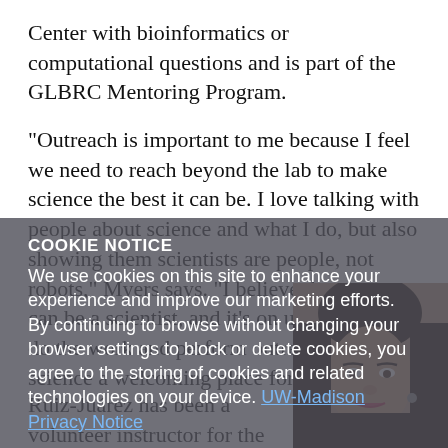Center with bioinformatics or computational questions and is part of the GLBRC Mentoring Program.
“Outreach is important to me because I feel we need to reach beyond the lab to make science the best it can be. I love talking with people about science and what I do, but also showing them scientists are people, not robots,” Myers says. “I believe that anyone can be a scientist, and it’s on us scientists to do the work and perform outreach to make science a welcoming place for everyone.”
Ruiz-Juárez has been a volunteer instructor for the MSU Gifted and Talented Program for more than five years, teaching curious learners of all ages about bioenergy
COOKIE NOTICE
We use cookies on this site to enhance your experience and improve our marketing efforts. By continuing to browse without changing your browser settings to block or delete cookies, you agree to the storing of cookies and related technologies on your device. UW-Madison Privacy Notice
GOT IT!
[Figure (photo): Photo of a woman with dark hair, facing forward, in the lower right corner of the page]